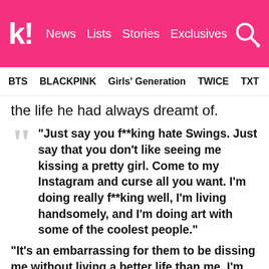k! News Lists Stories Exclusives
BTS BLACKPINK Girls' Generation TWICE TXT SEVE
the life he had always dreamt of.
“Just say you f**king hate Swings. Just say that you don’t like seeing me kissing a pretty girl. Come to my Instagram and curse all you want. I’m doing really f**king well, I’m living handsomely, and I’m doing art with some of the coolest people.”
“It’s an embarrassing for them to be dissing me without living a better life than me. I’m contributing to changing the world. I hope those who talk shit